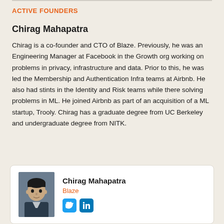ACTIVE FOUNDERS
Chirag Mahapatra
Chirag is a co-founder and CTO of Blaze. Previously, he was an Engineering Manager at Facebook in the Growth org working on problems in privacy, infrastructure and data. Prior to this, he was led the Membership and Authentication Infra teams at Airbnb. He also had stints in the Identity and Risk teams while there solving problems in ML. He joined Airbnb as part of an acquisition of a ML startup, Trooly. Chirag has a graduate degree from UC Berkeley and undergraduate degree from NITK.
[Figure (infographic): Profile card showing Chirag Mahapatra's photo on the left, with name 'Chirag Mahapatra', company 'Blaze' in orange, and Twitter and LinkedIn social media icons below.]